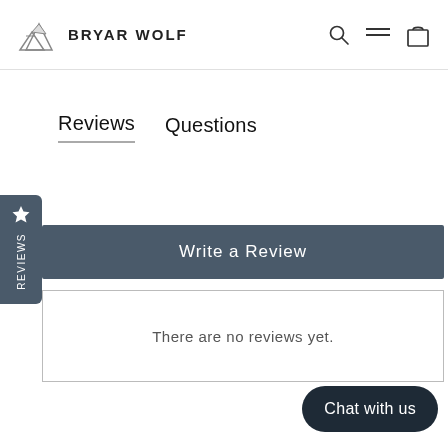BRYAR WOLF
Reviews   Questions
Write a Review
There are no reviews yet.
Chat with us